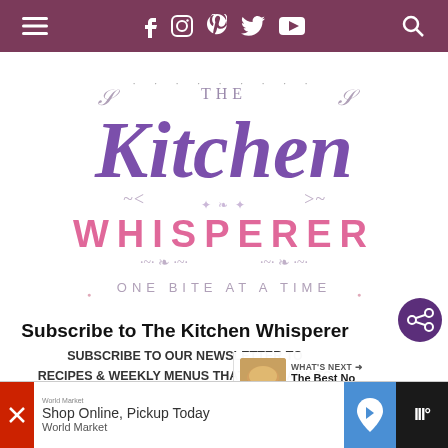Navigation bar with menu, social icons (Facebook, Instagram, Pinterest, Twitter, YouTube), and search
[Figure (logo): The Kitchen Whisperer logo — script lettering 'Kitchen' in purple, 'WHISPERER' in pink spaced caps, 'ONE BITE AT A TIME' tagline in grey, decorative swirls]
Subscribe to The Kitchen Whisperer
SUBSCRIBE TO OUR NEWSLETTER TO RECIPES & WEEKLY MENUS THAT ARE EASY TO MAKE, DELICIOUS, AND CHEF-CREATED!
[Figure (infographic): WHAT'S NEXT → The Best No Knead Crust... overlay with bread photo thumbnail]
[Figure (infographic): Bottom advertisement: Shop Online, Pickup Today — World Market, with map navigation icon and logo]